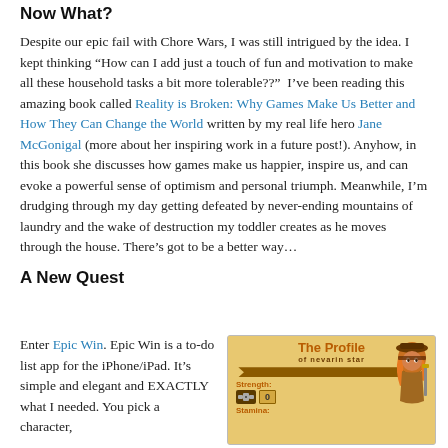Now What?
Despite our epic fail with Chore Wars, I was still intrigued by the idea. I kept thinking “How can I add just a touch of fun and motivation to make all these household tasks a bit more tolerable??”  I’ve been reading this amazing book called Reality is Broken: Why Games Make Us Better and How They Can Change the World written by my real life hero Jane McGonigal (more about her inspiring work in a future post!). Anyhow, in this book she discusses how games make us happier, inspire us, and can evoke a powerful sense of optimism and personal triumph. Meanwhile, I’m drudging through my day getting defeated by never-ending mountains of laundry and the wake of destruction my toddler creates as he moves through the house. There’s got to be a better way…
A New Quest
Enter Epic Win. Epic Win is a to-do list app for the iPhone/iPad. It’s simple and elegant and EXACTLY what I needed. You pick a character,
[Figure (screenshot): Screenshot of the Epic Win app showing 'The Profile of Nevarin Star' with a game character and stats including Strength: 0 and Stamina fields on a tan/golden background.]